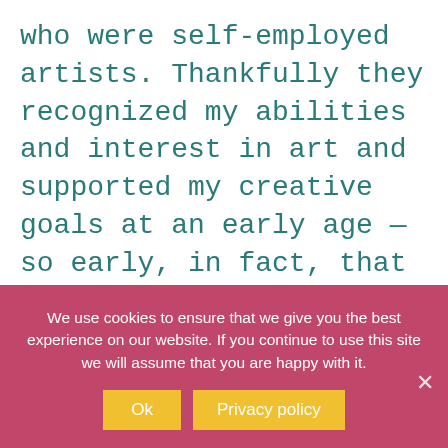who were self-employed artists. Thankfully they recognized my abilities and interest in art and supported my creative goals at an early age — so early, in fact, that I cannot remember life without art. By about the age of 7, it was pretty clear that when I grew up I wanted to be an artist and my parents supported this endeavor for my entire life. By the time high school hit, I had
We use cookies to ensure that we give you the best experience on our website. If you continue to use this site we will assume that you are happy with it.